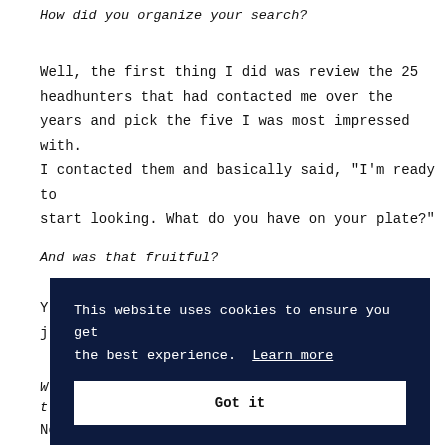How did you organize your search?
Well, the first thing I did was review the 25 headhunters that had contacted me over the years and pick the five I was most impressed with. I contacted them and basically said, “I’m ready to start looking. What do you have on your plate?”
And was that fruitful?
Y... j...
W... t...
[Figure (other): Cookie consent modal overlay with dark navy background. Text reads: 'This website uses cookies to ensure you get the best experience. Learn more' with a white 'Got it' button below.]
No, I actually wasn't. What I was looking for was